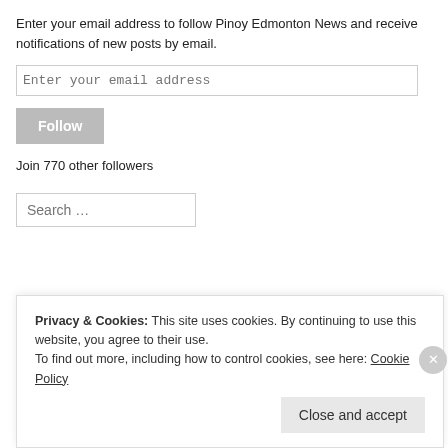Enter your email address to follow Pinoy Edmonton News and receive notifications of new posts by email.
[Figure (screenshot): Email input field with placeholder 'Enter your email address']
[Figure (screenshot): Follow button (gray)]
Join 770 other followers
[Figure (screenshot): Search input field with placeholder 'Search ...']
[Figure (logo): Pinoy Edmonton News logo - black geometric sphere/globe pattern]
Privacy & Cookies: This site uses cookies. By continuing to use this website, you agree to their use.
To find out more, including how to control cookies, see here: Cookie Policy
[Figure (screenshot): Close and accept button for cookie banner]